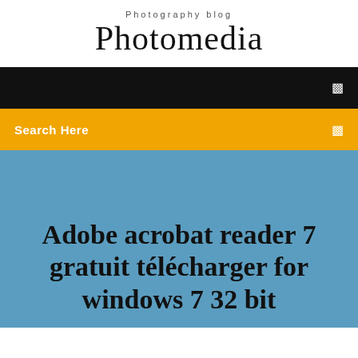Photography blog
Photomedia
[Figure (screenshot): Black navigation bar with white menu icon on right]
Search Here
Adobe acrobat reader 7 gratuit télécharger for windows 7 32 bit